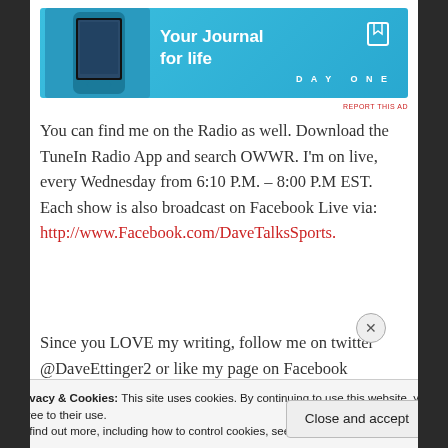[Figure (infographic): Advertisement banner for DayOne app — 'Your Journal for life' with phone image and book icon, light blue background]
You can find me on the Radio as well. Download the TuneIn Radio App and search OWWR. I'm on live, every Wednesday from 6:10 P.M. – 8:00 P.M EST. Each show is also broadcast on Facebook Live via: http://www.Facebook.com/DaveTalksSports.
Since you LOVE my writing, follow me on twitter @DaveEttinger2 or like my page on Facebook at http://www.Facebook.com/DaveTalksSports
Privacy & Cookies: This site uses cookies. By continuing to use this website, you agree to their use. To find out more, including how to control cookies, see here: Cookie Policy